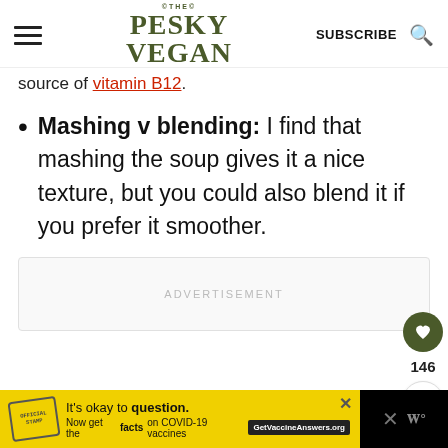THE PESKY VEGAN | SUBSCRIBE
source of [vitamin B12].
Mashing v blending: I find that mashing the soup gives it a nice texture, but you could also blend it if you prefer it smoother.
ADVERTISEMENT
[Figure (infographic): Floating action buttons: heart icon (dark green circle), count 146, and share icon]
[Figure (infographic): Bottom banner ad: yellow background with stamp logo, text 'It's okay to question. Now get the facts on COVID-19 vaccines GetVaccineAnswers.org', close X button. Right side black background with X and W icons.]